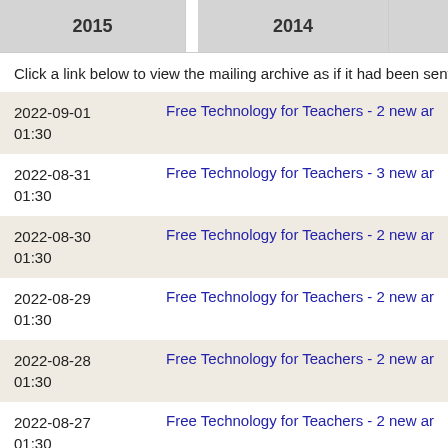| 2015 | 2014 |  |
| --- | --- | --- |
Click a link below to view the mailing archive as if it had been sent to
| Date | Subject |
| --- | --- |
| 2022-09-01 01:30 | Free Technology for Teachers - 2 new ar |
| 2022-08-31 01:30 | Free Technology for Teachers - 3 new ar |
| 2022-08-30 01:30 | Free Technology for Teachers - 2 new ar |
| 2022-08-29 01:30 | Free Technology for Teachers - 2 new ar |
| 2022-08-28 01:30 | Free Technology for Teachers - 2 new ar |
| 2022-08-27 01:30 | Free Technology for Teachers - 2 new ar |
| 2022-08-26 01:30 | Free Technology for Teachers - 3 new ar |
| 2022-08-25 01:30 | Free Technology for Teachers - 2 new ar |
| 2022-08-24 |  |